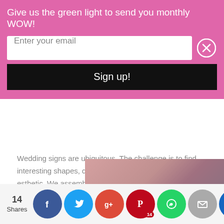Give us the green light to send you monthly WOW!
Enter your email
Sign up!
Wedding signs are ubiquitous. The challenge is to find interesting shapes, designs and colors that speak to your esthetic. We assembled photos of Mr and Mrs wedding signs, wedding chalkboards, diy wedding signs, and wooden signs. Look ...
8
14 Shares